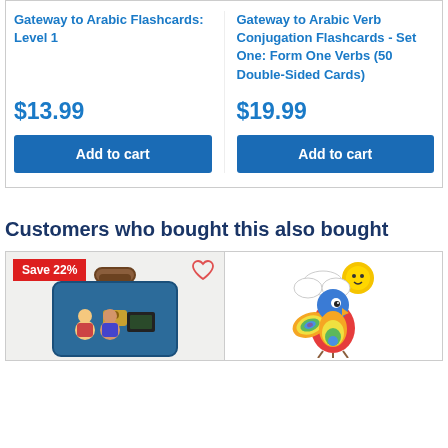Gateway to Arabic Flashcards: Level 1
$13.99
Add to cart
Gateway to Arabic Verb Conjugation Flashcards - Set One: Form One Verbs (50 Double-Sided Cards)
$19.99
Add to cart
Customers who bought this also bought
Save 22%
[Figure (photo): Blue briefcase/suitcase educational toy with children characters on front]
[Figure (illustration): Colorful rainbow parrot/bird illustration with sun and clouds]